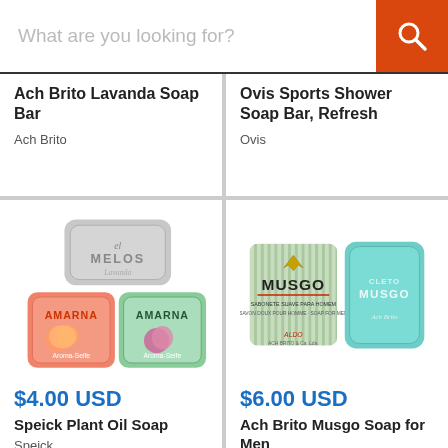What are you looking for?
Ach Brito Lavanda Soap Bar
Ach Brito
Ovis Sports Shower Soap Bar, Refresh
Ovis
[Figure (photo): Three soap bars: a grey Melos lavender soap on top, and two AMARNA soaps (one salmon/pink with peach design, one green with kiwi/plum design) below.]
$4.00 USD
Speick Plant Oil Soap
Speick
[Figure (photo): Two MUSGO soap items: a striped rectangular box/package with crown logo and MUSGO text, and a solid teal/mint colored bar soap with MUSGO embossed.]
$6.00 USD
Ach Brito Musgo Soap for Men
Ach Brito